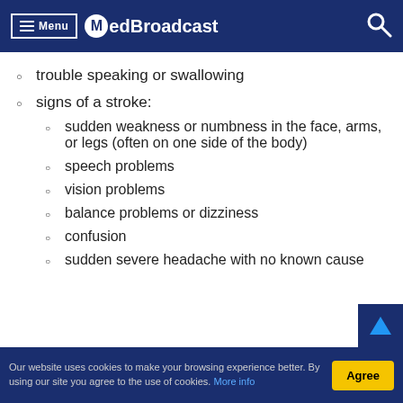Menu MedBroadcast
trouble speaking or swallowing
signs of a stroke:
sudden weakness or numbness in the face, arms, or legs (often on one side of the body)
speech problems
vision problems
balance problems or dizziness
confusion
sudden severe headache with no known cause
Our website uses cookies to make your browsing experience better. By using our site you agree to the use of cookies. More info